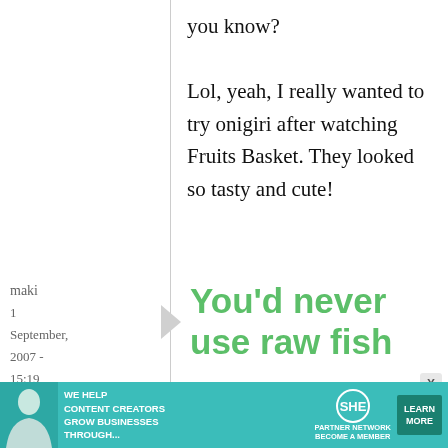you know?
Lol, yeah, I really wanted to try onigiri after watching Fruits Basket. They looked so tasty and cute!
maki
1 September, 2007 - 15:19
permalink
You'd never use raw fish
You'd never use raw
[Figure (screenshot): Advertisement banner: WE HELP CONTENT CREATORS GROW BUSINESSES THROUGH... SHE PARTNER NETWORK BECOME A MEMBER - LEARN MORE button]